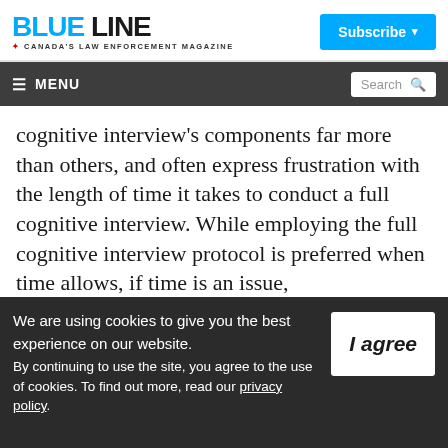BLUE LINE — Canada's Law Enforcement Magazine
cognitive interview's components far more than others, and often express frustration with the length of time it takes to conduct a full cognitive interview. While employing the full cognitive interview protocol is preferred when time allows, if time is an issue,
We are using cookies to give you the best experience on our website. By continuing to use the site, you agree to the use of cookies. To find out more, read our privacy policy.